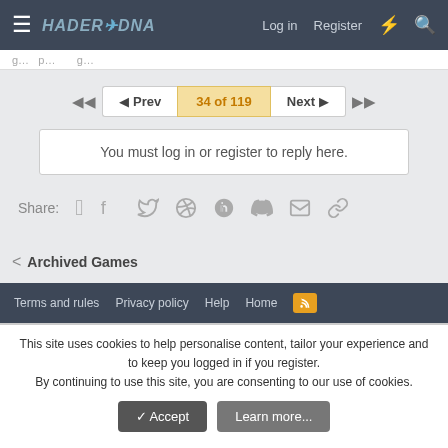HADERX-DNA  Log in  Register
34 of 119
You must log in or register to reply here.
Share:
Archived Games
Terms and rules  Privacy policy  Help  Home
This site uses cookies to help personalise content, tailor your experience and to keep you logged in if you register. By continuing to use this site, you are consenting to our use of cookies.